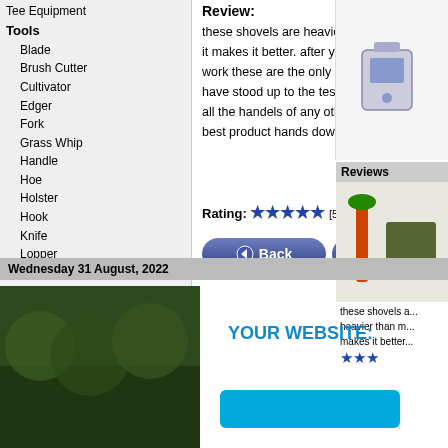Tee Equipment
Tools
Blade
Brush Cutter
Cultivator
Edger
Fork
Grass Whip
Handle
Hoe
Holster
Hook
Knife
Lopper
Mattock
Planter
Posthole
Pruner-Hand
Pruner-Pole
Saw
Scraper
Shears
Shovel
Sledge
Snow Shovel
Sod Lifter
Spade
Tamper
Tool Rack
Trowel
Weed Whip
Weeder
Used Equipment
Review:
these shovels are heavier than most but it makes it better. after years of concrete work these are the only shovels that have stood up to the test day after day all the handels of any other brand break. best product hands down.
Rating: ★★★★★ [5 of 5 Stars!]
[Figure (other): Back button and In Cart button]
[Figure (other): Top right product image - handheld device]
Reviews
[Figure (photo): Shovel/tool product image in reviews sidebar]
these shovels a... heavier than m... makes it better...
★★★
Wednesday 31 August, 2022
YOUR WEBSITE:
[Figure (photo): Green grass/garden photo in bottom left]